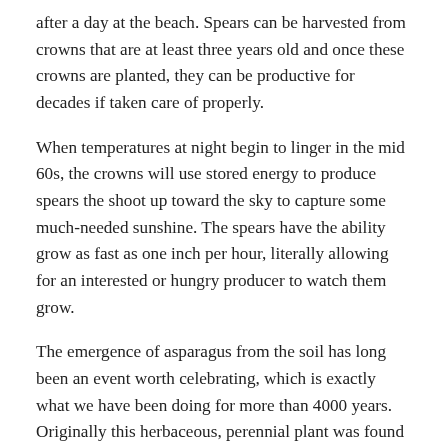after a day at the beach. Spears can be harvested from crowns that are at least three years old and once these crowns are planted, they can be productive for decades if taken care of properly.
When temperatures at night begin to linger in the mid 60s, the crowns will use stored energy to produce spears the shoot up toward the sky to capture some much-needed sunshine. The spears have the ability grow as fast as one inch per hour, literally allowing for an interested or hungry producer to watch them grow.
The emergence of asparagus from the soil has long been an event worth celebrating, which is exactly what we have been doing for more than 4000 years. Originally this herbaceous, perennial plant was found growing throughout Europe. It was brought to North America in the later part of the seventeenth century by European settlers as it was thought to be a crop that might do well in our climate. Some two-hundred years after its arrival to North America, it emerged as a cash crop in South Carolina, grown to supply high-end restaurants and hotels in the Northeast. Asparagus production primarily took place in the Charleston area, with some of the best green shoots coming from a farm in